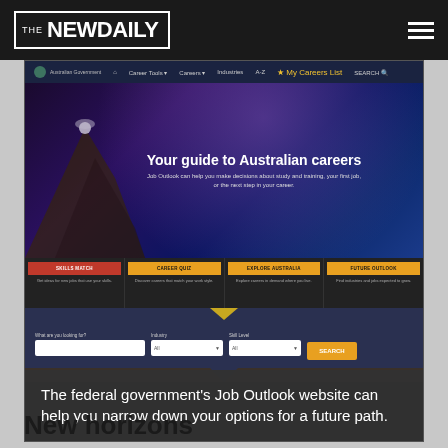THE NEWDAILY
[Figure (screenshot): Screenshot of the Australian Government Job Outlook website showing the hero banner 'Your guide to Australian careers', feature buttons (Skills Match, Career Quiz, Explore Australia, Future Outlook), and a search bar with fields for What are you looking for?, Industry, Skill Level, and a Search button.]
The federal government's Job Outlook website can help you narrow down your options for a future path.
New horizons